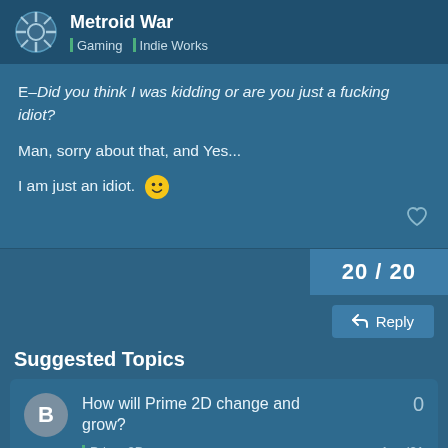Metroid War | Gaming | Indie Works
E–Did you think I was kidding or are you just a fucking idiot?

Man, sorry about that, and Yes...

I am just an idiot. 😊
20 / 20
Reply
Suggested Topics
How will Prime 2D change and grow? | Prime 2D | Aug '21 | 0
Want to read more? Browse other topics in